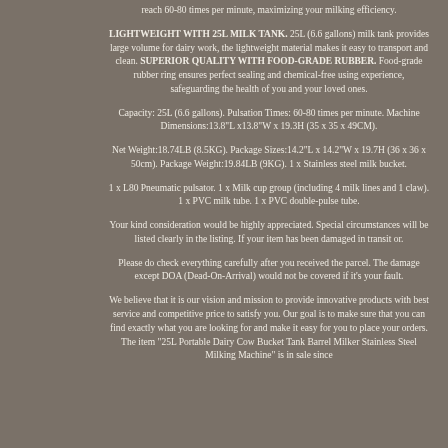reach 60-80 times per minute, maximizing your milking efficiency.
LIGHTWEIGHT WITH 25L MILK TANK. 25L (6.6 gallons) milk tank provides large volume for dairy work, the lightweight material makes it easy to transport and clean. SUPERIOR QUALITY WITH FOOD-GRADE RUBBER. Food-grade rubber ring ensures perfect sealing and chemical-free using experience, safeguarding the health of you and your loved ones.
Capacity: 25L (6.6 gallons). Pulsation Times: 60-80 times per minute. Machine Dimensions:13.8"L x13.8"W x 19.3H (35 x 35 x 49CM).
Net Weight:18.74LB (8.5KG). Package Sizes:14.2"L x 14.2"W x 19.7H (36 x 36 x 50cm). Package Weight:19.84LB (9KG). 1 x Stainless steel milk bucket.
1 x L80 Pneumatic pulsator. 1 x Milk cup group (including 4 milk lines and 1 claw). 1 x PVC milk tube. 1 x PVC double-pulse tube.
Your kind consideration would be highly appreciated. Special circumstances will be listed clearly in the listing. If your item has been damaged in transit or.
Please do check everything carefully after you received the parcel. The damage except DOA (Dead-On-Arrival) would not be covered if it's your fault.
We believe that it is our vision and mission to provide innovative products with best service and competitive price to satisfy you. Our goal is to make sure that you can find exactly what you are looking for and make it easy for you to place your orders. The item "25L Portable Dairy Cow Bucket Tank Barrel Milker Stainless Steel Milking Machine" is in sale since